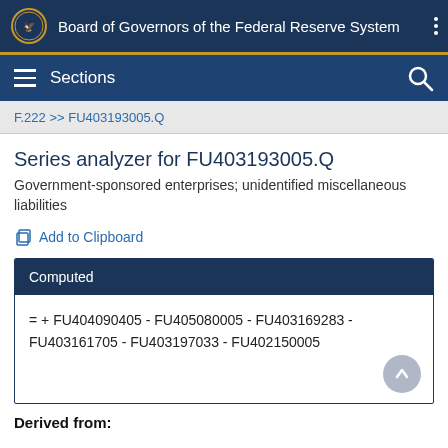Board of Governors of the Federal Reserve System
Sections
F.222 >> FU403193005.Q
Series analyzer for FU403193005.Q
Government-sponsored enterprises; unidentified miscellaneous liabilities
Add to Clipboard
| Computed |
| --- |
| = + FU404090405 - FU405080005 - FU403169283 - FU403161705 - FU403197033 - FU402150005 |
Derived from: